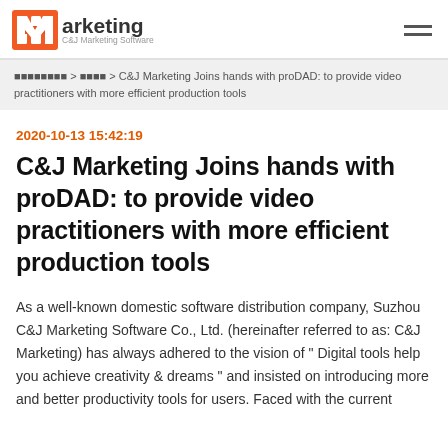arketing C&J Marketing Software
■■■■■■■■ > ■■■■ > C&J Marketing Joins hands with proDAD: to provide video practitioners with more efficient production tools
2020-10-13 15:42:19
C&J Marketing Joins hands with proDAD: to provide video practitioners with more efficient production tools
As a well-known domestic software distribution company, Suzhou C&J Marketing Software Co., Ltd. (hereinafter referred to as: C&J Marketing) has always adhered to the vision of " Digital tools help you achieve creativity & dreams " and insisted on introducing more and better productivity tools for users. Faced with the current